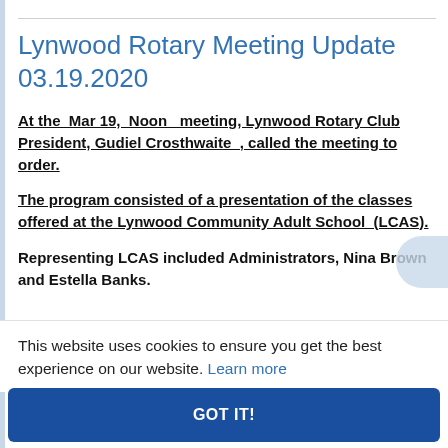Lynwood Rotary Meeting Update 03.19.2020
At the Mar 19, Noon meeting, Lynwood Rotary Club President, Gudiel Crosthwaite , called the meeting to order.
The program consisted of a presentation of the classes offered at the Lynwood Community Adult School (LCAS).
Representing LCAS included Administrators, Nina Brown and Estella Banks.
This website uses cookies to ensure you get the best experience on our website. Learn more
GOT IT!